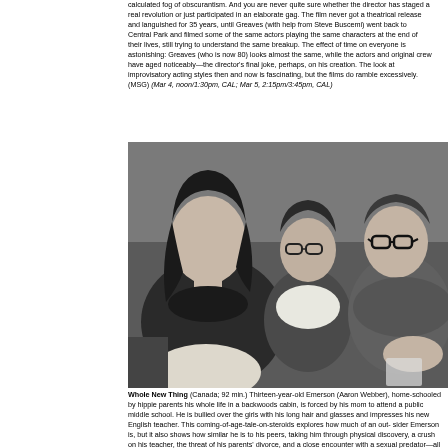calculated fog of obscurantism. And you are never quite sure whether the director has staged a real revolution or just participated in an elaborate gag. The film never got a theatrical release and languished for 35 years, until Greaves (with help from Steve Buscemi) went back to Central Park and filmed some of the same actors playing the same characters at the end of their lives, still trying to understand the same breakup. The effect of time on everyone is astonishing: Greaves (who is now 80) looks almost the same, while the actors and original crew have aged noticeably—the director's final joke, perhaps, on his creation. The look at improvisatory acting styles then and now is fascinating, but the films do ramble excessively. (MSG) (Mar 4, noon/1:30pm, CAL; Mar 5, 2:15pm/3:45pm, CAL)
[Figure (photo): Black and white photo of three people (two women and a man with glasses) sitting together on a couch or sofa in an indoor setting.]
Whole New Thing (Canada; 92 min.) Thirteen-year-old Emerson (Aaron Webber), home-schooled by hippie parents his whole life in a backwoods cabin, is forced by his mom to attend a public middle school. He is bullied over the girls with his long hair and glasses and impresses his new English teacher. This coming-of-age-tale-on-steroids explores how much of an outsider Emerson is, but it also shows how similar he is to his peers, taking him through physical discovery, a crush on his teacher, the threat of his parents' divorce, and a close encounter with a sexual predator—all within a matter of weeks.